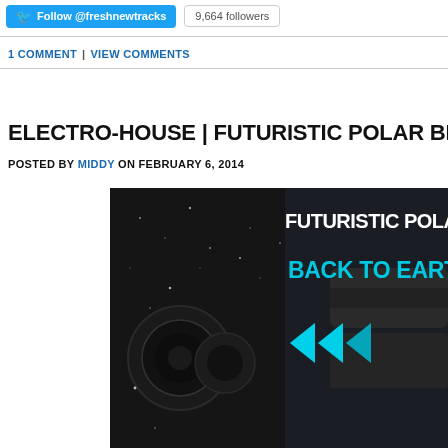Follow @freshnewtracks | 9,664 followers
1 COMMENT | VIEW COMMENTS
ELECTRO-HOUSE | FUTURISTIC POLAR BEARS – BACK T...
POSTED BY MIDDY ON FEBRUARY 6, 2014
[Figure (photo): Album artwork for Futuristic Polar Bears – Back To Earth, showing text 'FUTURISTIC POLAR B' and 'BACK TO EARTH' in cyan, with dark industrial/space imagery and cyan arrow shapes]